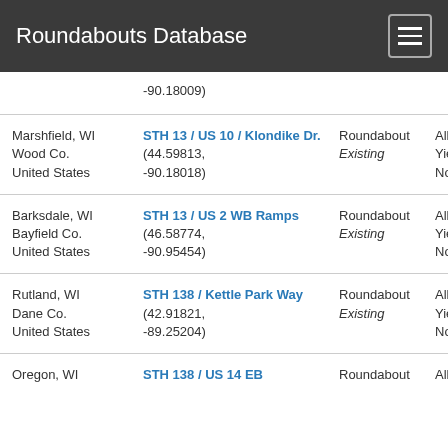Roundabouts Database
| Location | Intersection | Type/Status | Control |
| --- | --- | --- | --- |
|  | -90.18009) |  |  |
| Marshfield, WI
Wood Co.
United States | STH 13 / US 10 / Klondike Dr.
(44.59813, -90.18018) | Roundabout
Existing | All-Way
Yield
None |
| Barksdale, WI
Bayfield Co.
United States | STH 13 / US 2 WB Ramps
(46.58774, -90.95454) | Roundabout
Existing | All-Way
Yield
None |
| Rutland, WI
Dane Co.
United States | STH 138 / Kettle Park Way
(42.91821, -89.25204) | Roundabout
Existing | All-Way
Yield
None |
| Oregon, WI | STH 138 / US 14 EB | Roundabout | All-Way |